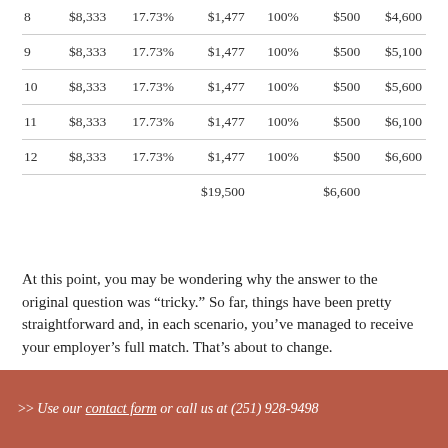| 8 | $8,333 | 17.73% | $1,477 | 100% | $500 | $4,600 |
| 9 | $8,333 | 17.73% | $1,477 | 100% | $500 | $5,100 |
| 10 | $8,333 | 17.73% | $1,477 | 100% | $500 | $5,600 |
| 11 | $8,333 | 17.73% | $1,477 | 100% | $500 | $6,100 |
| 12 | $8,333 | 17.73% | $1,477 | 100% | $500 | $6,600 |
|  |  |  | $19,500 |  | $6,600 |  |
At this point, you may be wondering why the answer to the original question was “tricky.” So far, things have been pretty straightforward and, in each scenario, you’ve managed to receive your employer’s full match. That’s about to change.
SCENARIO #4: CONTRIBUTING YOUR
>> Use our contact form or call us at (251) 928-9498